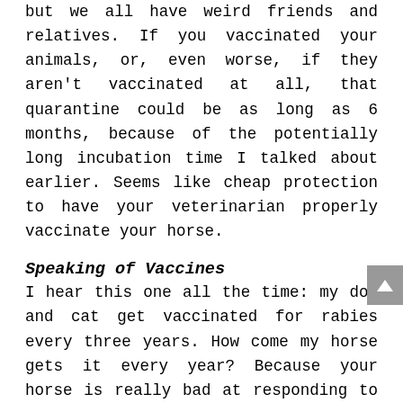but we all have weird friends and relatives. If you vaccinated your animals, or, even worse, if they aren't vaccinated at all, that quarantine could be as long as 6 months, because of the potentially long incubation time I talked about earlier. Seems like cheap protection to have your veterinarian properly vaccinate your horse.
Speaking of Vaccines
I hear this one all the time: my dog and cat get vaccinated for rabies every three years. How come my horse gets it every year? Because your horse is really bad at responding to the vaccine, that's why. Horses are really bad at the important things like digestion, good support structure, and responding to vaccines.